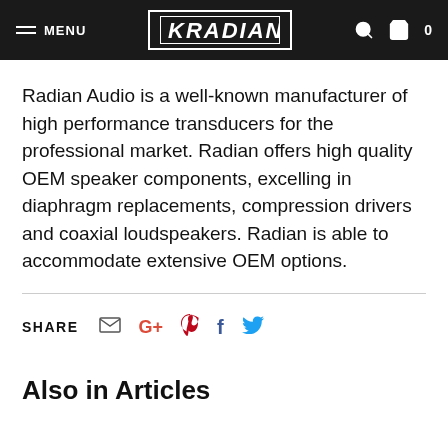MENU  KRADIAN  0
Radian Audio is a well-known manufacturer of high performance transducers for the professional market. Radian offers high quality OEM speaker components, excelling in diaphragm replacements, compression drivers and coaxial loudspeakers. Radian is able to accommodate extensive OEM options.
SHARE
Also in Articles